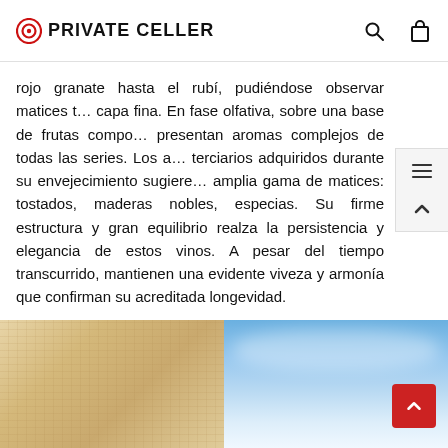PRIVATE CELLER
rojo granate hasta el rubí, pudiéndose observar matices transparentes en capa fina. En fase olfativa, sobre una base de frutas compotadas, presentan aromas complejos de todas las series. Los aromas terciarios adquiridos durante su envejecimiento sugieren una amplia gama de matices: tostados, maderas nobles, especias. Su firme estructura y gran equilibrio realza la persistencia y elegancia de estos vinos. A pesar del tiempo transcurrido, mantienen una evidente viveza y armonía que confirman su acreditada longevidad.
[Figure (screenshot): Translate dropdown button]
[Figure (photo): Bottom split image: left half shows sandy/stone wall texture in warm beige tones; right half shows blue sky with white clouds]